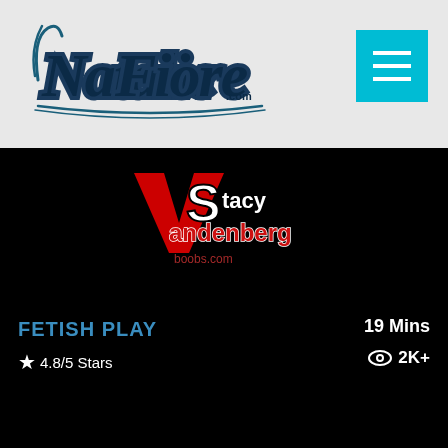[Figure (logo): Natalie Fiore .com stylized script logo in dark blue/teal with decorative flourishes]
[Figure (logo): VS Stacy Vandenberg boobs.com watermark overlay logo in red and white on black background]
FETISH PLAY
19 Mins
4.8/5 Stars
2K+